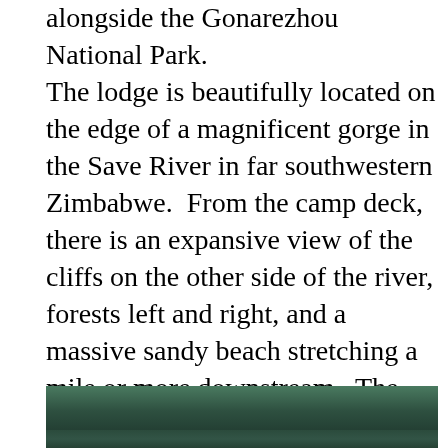alongside the Gonarezhou National Park. The lodge is beautifully located on the edge of a magnificent gorge in the Save River in far southwestern Zimbabwe.  From the camp deck, there is an expansive view of the cliffs on the other side of the river, forests left and right, and a massive sandy beach stretching a mile or more downstream.  The deck overlooking the Save River is unquestionably the heart of the property; it is where most of the delicious meals are served and where guests gather for drinks, conversation or simply to enjoy the peaceful surroundings, any time of the day.  Across the river is where you will find the little-known and lightly explored Gonarezhou National Park which we would be exploring the following day.
[Figure (photo): Partial view of a river or water scene with dark greenish-blue tones, appearing to be the Save River near the lodge.]